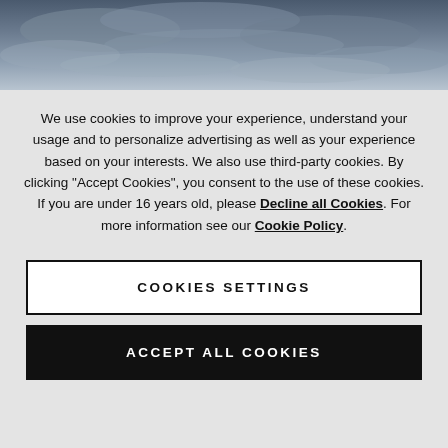[Figure (photo): Cloudy sky photograph at the top of the page, showing overcast grey clouds]
We use cookies to improve your experience, understand your usage and to personalize advertising as well as your experience based on your interests. We also use third-party cookies. By clicking "Accept Cookies", you consent to the use of these cookies. If you are under 16 years old, please Decline all Cookies. For more information see our Cookie Policy.
COOKIES SETTINGS
ACCEPT ALL COOKIES